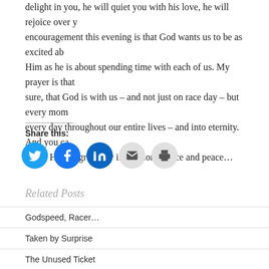delight in you, he will quiet you with his love, he will rejoice over y… encouragement this evening is that God wants us to be as excited ab… Him as he is about spending time with each of us. My prayer is that… sure, that God is with us – and not just on race day – but every mom… every day throughout our entire lives – and into eternity. And you ca… Lane! Have a great day in the Lord, grace and peace…
Share this:
[Figure (infographic): Social share buttons: Twitter (blue), Facebook (blue), LinkedIn (dark blue), Email (grey), Print (grey)]
Related Posts
Godspeed, Racer…
Taken by Surprise
The Unused Ticket
Rust-Oleum
Making Our Lives Count